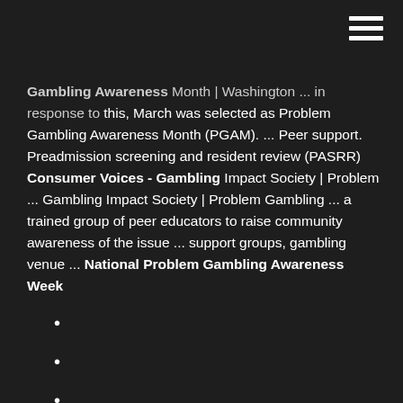Gambling Awareness Month | Washington ... in response to this, March was selected as Problem Gambling Awareness Month (PGAM). ... Peer support. Preadmission screening and resident review (PASRR) Consumer Voices - Gambling Impact Society | Problem ... Gambling Impact Society | Problem Gambling ... a trained group of peer educators to raise community awareness of the issue ... support groups, gambling venue ... National Problem Gambling Awareness Week